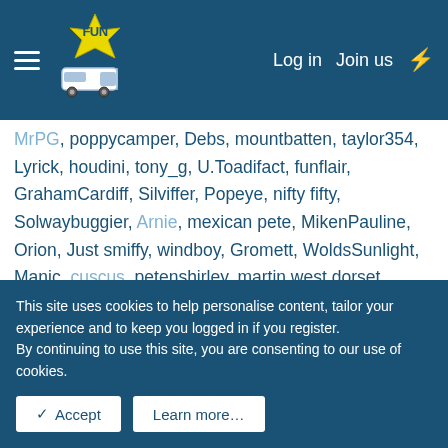Motorforum FUN — Log in | Join us
MrPG, poppycamper, Debs, mountbatten, taylor354, Lyrick, houdini, tony_g, U.Toadifact, funflair, GrahamCardiff, Silviffer, Popeye, nifty fifty, Solwaybuggier, Arnie, mexican pete, MikenPauline, Orion, Just smiffy, windboy, Gromett, WoldsSunlight, Manic, cuscus, petenshirley, martin west dorset, DavidG58, appydaze, ...
This site uses cookies to help personalise content, tailor your experience and to keep you logged in if you register. By continuing to use this site, you are consenting to our use of cookies.